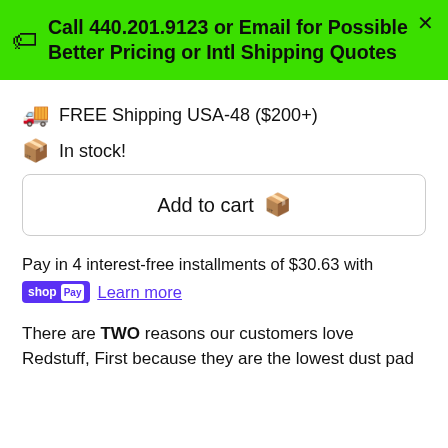Call 440.201.9123 or Email for Possible Better Pricing or Intl Shipping Quotes
FREE Shipping USA-48 ($200+)
In stock!
Add to cart
Pay in 4 interest-free installments of $30.63 with shopPay Learn more
There are TWO reasons our customers love Redstuff, First because they are the lowest dust pad